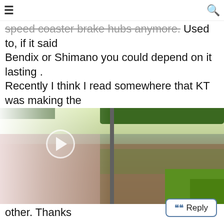≡  [title text truncated]  🔍
speed coaster brake hubs anymore. Used to, if it said Bendix or Shimano you could depend on it lasting . Recently I think I read somewhere that KT was making the [text continues below image]
[Figure (photo): Aerial or elevated view of a river or canal with a narrow dividing structure, flanked by green trees on both sides. A play button overlay is visible on the left side of the video thumbnail.]
other. Thanks
Reply